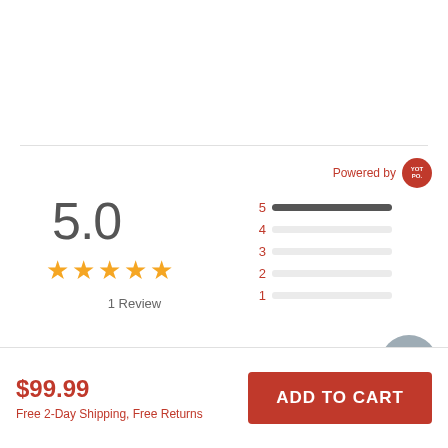Powered by YOTPO
5.0
[Figure (other): 5 gold stars rating display]
1 Review
[Figure (bar-chart): Rating distribution]
Write A Review
Ask A Question
$99.99
Free 2-Day Shipping,  Free Returns
ADD TO CART